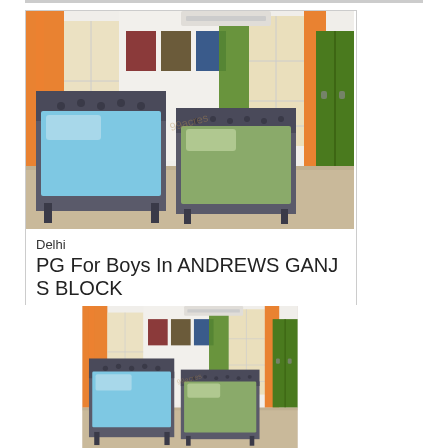[Figure (photo): Interior photo of a PG room showing two single beds with blue and green sheets, orange and green curtains, green wardrobe, white walls with pictures hung, air conditioner on ceiling.]
Delhi
PG For Boys In ANDREWS GANJ S BLOCK
[Figure (photo): Same interior photo repeated showing a PG room with two single beds, orange and green curtains, green wardrobe, partially cropped.]